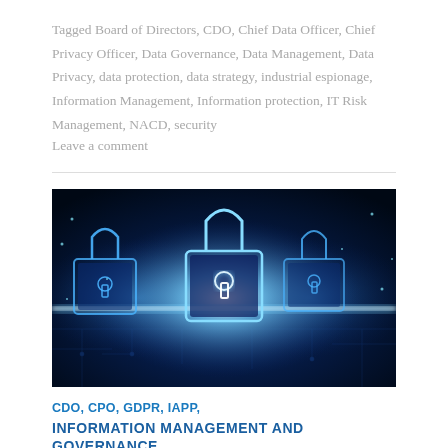Tagged Board of Directors, CDO, Chief Data Officer, Chief Privacy Officer, Data Governance, Data Management, Data Privacy, data protection, data strategy, industrial espionage, Information Management, Information protection, IT Risk Management, NACD, security
Leave a comment
[Figure (photo): A dark blue digital illustration of three illuminated padlocks with circuit board patterns and keyhole designs, representing cybersecurity or data protection, with bright neon blue light emanating from the bottom center.]
CDO, CPO, GDPR, IAPP,
INFORMATION MANAGEMENT AND GOVERNANCE